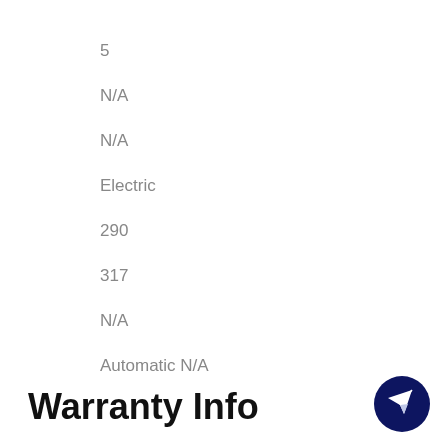5
N/A
N/A
Electric
290
317
N/A
Automatic N/A
Warranty Info